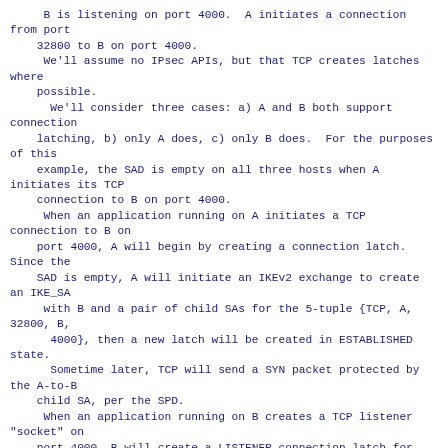B is listening on port 4000.  A initiates a connection from port
    32800 to B on port 4000.
     We'll assume no IPsec APIs, but that TCP creates latches where
    possible.
      We'll consider three cases: a) A and B both support connection
    latching, b) only A does, c) only B does.  For the purposes of this
    example, the SAD is empty on all three hosts when A initiates its TCP
    connection to B on port 4000.
     When an application running on A initiates a TCP connection to B on
    port 4000, A will begin by creating a connection latch.  Since the
    SAD is empty, A will initiate an IKEv2 exchange to create an IKE_SA
     with B and a pair of child SAs for the 5-tuple {TCP, A, 32800, B,
      4000}, then a new latch will be created in ESTABLISHED state.
      Sometime later, TCP will send a SYN packet protected by the A-to-B
    child SA, per the SPD.
     When an application running on B creates a TCP listener "socket" on
    port 4000, B will create a LISTENER connection latch for the 3-tuple